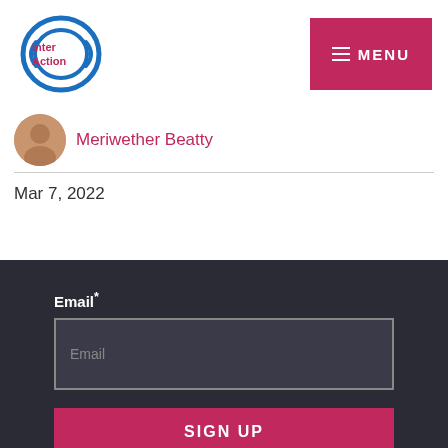InterAction | MENU
Meriwether Beatty
Mar 7, 2022
Email *
Email
SIGN UP